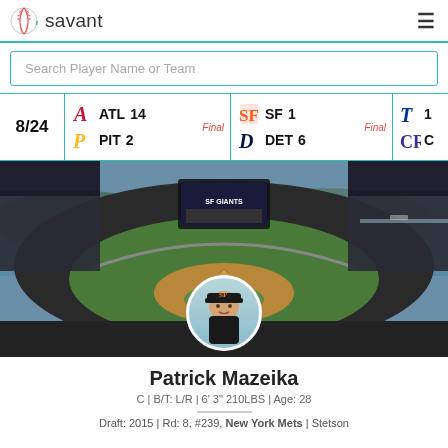savant
Search Player Name or Team
8/24 ATL 14 PIT 2 Final | SF 1 DET 6 Final | T [partial]
[Figure (photo): Aerial view of a baseball stadium (AT&T Park / Oracle Park) with a player headshot circle overlay at bottom center]
Patrick Mazeika
C | B/T: L/R | 6' 3" 210LBS | Age: 28
Draft: 2015 | Rd: 8, #239, New York Mets | Stetson